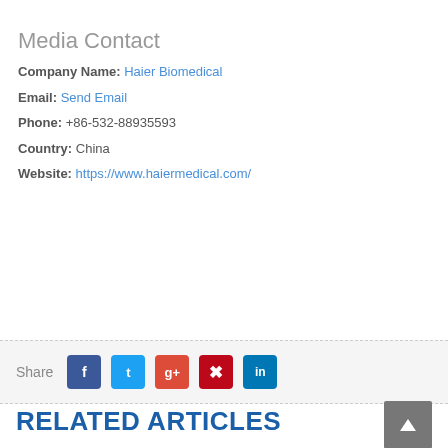Media Contact
Company Name: Haier Biomedical
Email: Send Email
Phone: +86-532-88935593
Country: China
Website: https://www.haiermedical.com/
RELATED ARTICLES